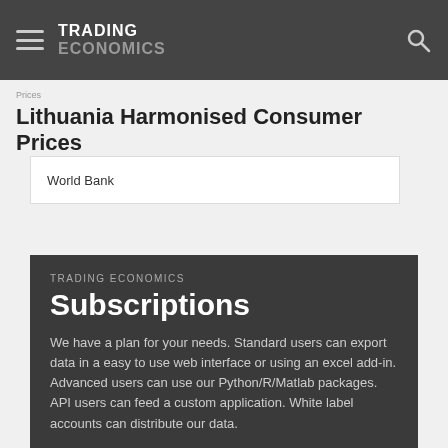TRADING ECONOMICS
Lithuania Harmonised Consumer Prices
World Bank
TRADING ECONOMICS Subscriptions
We have a plan for your needs. Standard users can export data in a easy to use web interface or using an excel add-in. Advanced users can use our Python/R/Matlab packages. API users can feed a custom application. White label accounts can distribute our data.
50 Million Indicators
Economic Calendar
50K Markets
Live Quotes